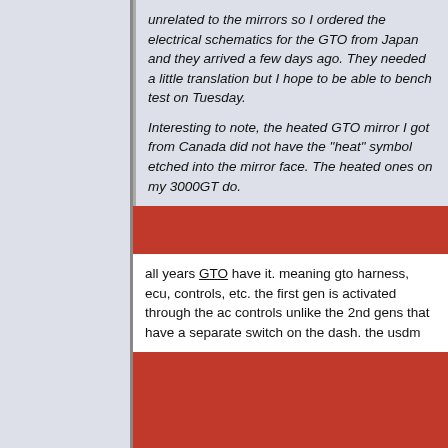unrelated to the mirrors so I ordered the electrical schematics for the GTO from Japan and they arrived a few days ago. They needed a little translation but I hope to be able to bench test on Tuesday.

Interesting to note, the heated GTO mirror I got from Canada did not have the "heat" symbol etched into the mirror face. The heated ones on my 3000GT do.
all years GTO have it. meaning gto harness, ecu, controls, etc. the first gen is activated through the ac controls unlike the 2nd gens that have a separate switch on the dash. the usdm